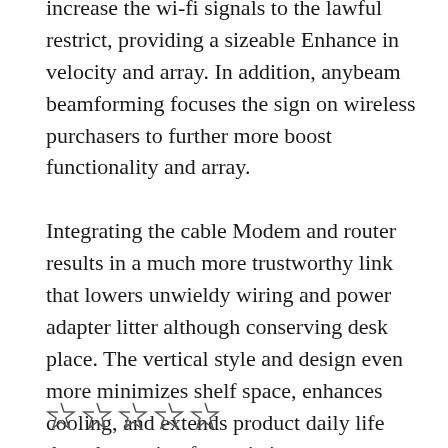increase the wi-fi signals to the lawful restrict, providing a sizeable Enhance in velocity and array. In addition, anybeam beamforming focuses the sign on wireless purchasers to further more boost functionality and array. Integrating the cable Modem and router results in a much more trustworthy link that lowers unwieldy wiring and power adapter litter although conserving desk place. The vertical style and design even more minimizes shelf space, enhances cooling, and extends product daily life though wanting fantastic in any property or workplace.
[Figure (other): Partial star rating icons visible at bottom of page]